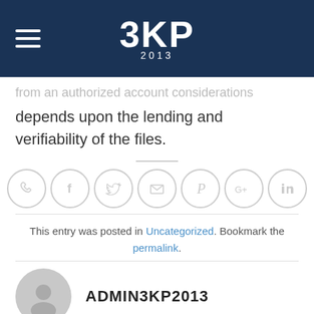3KP 2013
from an authorized account considerations depends upon the lending and verifiability of the files.
[Figure (infographic): Social sharing icons in circles: phone, Facebook, Twitter, email, Pinterest, Google+, LinkedIn]
This entry was posted in Uncategorized. Bookmark the permalink.
ADMIN3KP2013